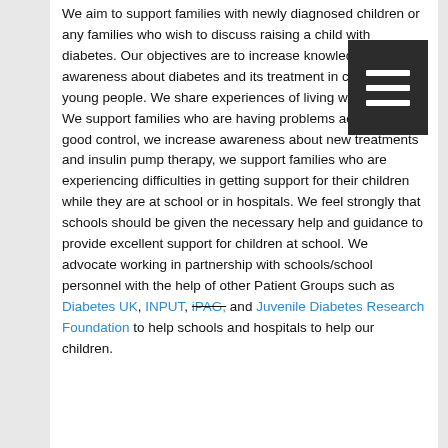We aim to support families with newly diagnosed children or any families who wish to discuss raising a child with diabetes. Our objectives are to increase knowledge and awareness about diabetes and its treatment in children and young people. We share experiences of living with diabetes. We support families who are having problems achieving good control, we increase awareness about new treatments and insulin pump therapy, we support families who are experiencing difficulties in getting support for their children while they are at school or in hospitals. We feel strongly that schools should be given the necessary help and guidance to provide excellent support for children at school. We advocate working in partnership with schools/school personnel with the help of other Patient Groups such as Diabetes UK, INPUT, iPAG, and Juvenile Diabetes Research Foundation to help schools and hospitals to help our children.